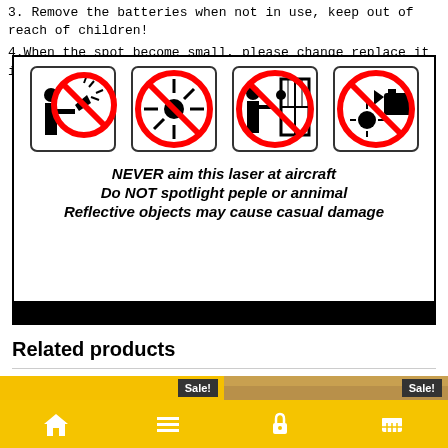3. Remove the batteries when not in use, keep out of reach of children!
4.When the spot become small, please change replace it in time.
[Figure (infographic): Warning box with four prohibition icons (laser at aircraft, laser spot, person at window/laser, laser at camera) and text: NEVER aim this laser at aircraft / Do NOT spotlight peple or annimal / Reflective objects may cause casual damage]
Related products
[Figure (photo): Two product thumbnails with Sale! badges, partial view at bottom of page]
Navigation bar with home, menu, lock, and cart icons on yellow background